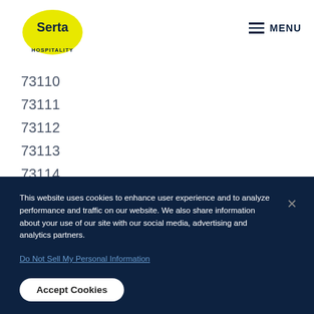[Figure (logo): Serta Hospitality logo — yellow oval with navy Serta text and HOSPITALITY below]
MENU
73110
73111
73112
73113
73114
73115
This website uses cookies to enhance user experience and to analyze performance and traffic on our website. We also share information about your use of our site with our social media, advertising and analytics partners.
Do Not Sell My Personal Information
Accept Cookies